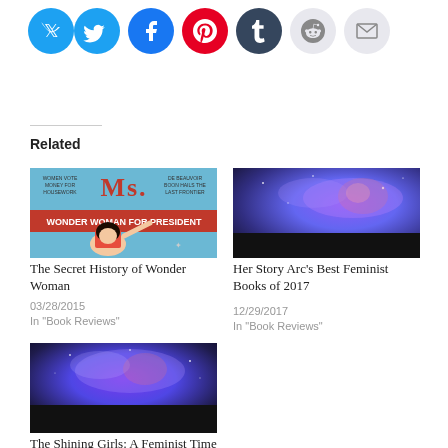[Figure (other): Social media sharing icons: Twitter (blue), Facebook (blue), Pinterest (red), Tumblr (dark blue), Reddit (light gray), Email (light gray)]
Related
[Figure (photo): Cover of Ms. Magazine featuring Wonder Woman for President; comic book style illustration with text 'WONDER WOMAN FOR PRESIDENT']
The Secret History of Wonder Woman
03/28/2015
In "Book Reviews"
[Figure (photo): Dark space/nebula galaxy image with purple and blue hues and dark foreground]
Her Story Arc’s Best Feminist Books of 2017
12/29/2017
In "Book Reviews"
[Figure (photo): Dark space/galaxy image similar to the one above, dark foreground with purple and blue hues]
The Shining Girls: A Feminist Time Travel…